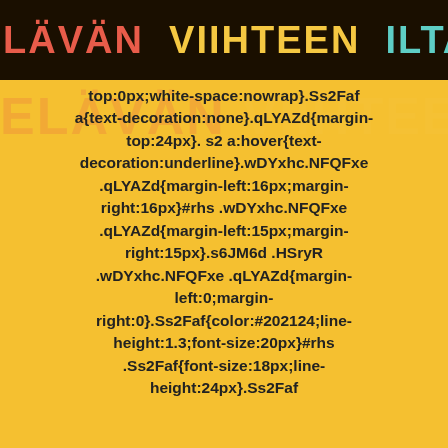ELÄVÄN VIIHTEEN ILTA
top:0px;white-space:nowrap}.Ss2Faf a{text-decoration:none}.qLYAZd{margin-top:24px}. s2 a:hover{text-decoration:underline}.wDYxhc.NFQFxe .qLYAZd{margin-left:16px;margin-right:16px}#rhs .wDYxhc.NFQFxe .qLYAZd{margin-left:15px;margin-right:15px}.s6JM6d .HSryR .wDYxhc.NFQFxe .qLYAZd{margin-left:0;margin-right:0}.Ss2Faf{color:#202124;line-height:1.3;font-size:20px}#rhs .Ss2Faf{font-size:18px;line-height:24px}.Ss2Faf